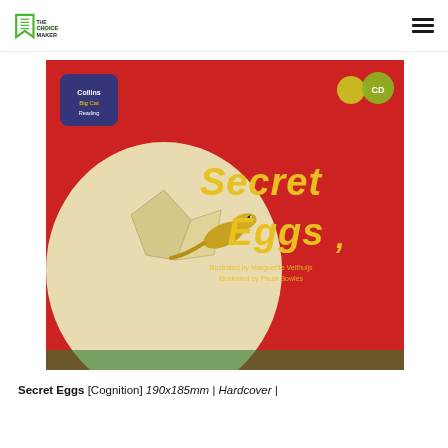THE CHOICE MAKER
[Figure (photo): Book cover of 'Secret Eggs' showing a lizard hatching from a cracked egg against a red background, with 'Secret Eggs' written in large yellow text]
Secret Eggs [Cognition] 190x185mm | Hardcover |